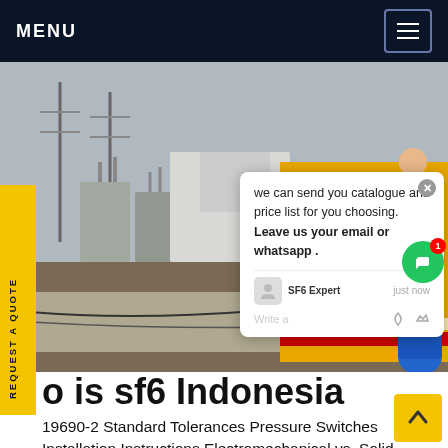MENU
[Figure (photo): Industrial site photo showing electrical substation equipment with high-voltage transformers and a yellow service truck. A worker in blue uniform is visible on the right side.]
we can send you catalogue and price list for you choosing. Leave us your email or whatsapp .
SF6 Expert   just now
Write a
o is sf6 Indonesia
19690-2 Standard Tolerances Pressure Switches Installation Instructions Electromechanical vs. Solid State Heat Exchanger Leaks at Indonesian Refin Keep Sulfr hexafluoride Gas in Check Maintain B Preload - Electrical Maintain Bolt Preload - PV